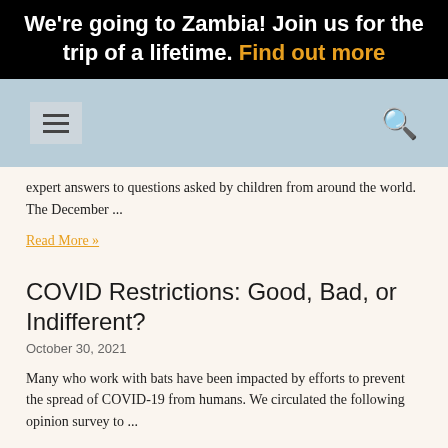We're going to Zambia! Join us for the trip of a lifetime. Find out more
[Figure (screenshot): Navigation bar with hamburger menu icon and search icon on light blue background]
expert answers to questions asked by children from around the world. The December ...
Read More »
COVID Restrictions: Good, Bad, or Indifferent?
October 30, 2021
Many who work with bats have been impacted by efforts to prevent the spread of COVID-19 from humans. We circulated the following opinion survey to ...
Read More »